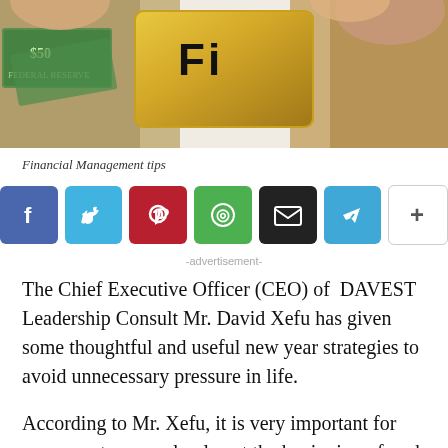[Figure (photo): Hands holding a gold credit/loyalty card with text visible at top, with dollar bills in the background on a white surface]
Financial Management tips
[Figure (infographic): Social sharing buttons row: Facebook (blue), Twitter (cyan), Pinterest (red), WhatsApp (green), Email (black), Telegram (light blue), More/Plus (white with border)]
-advertisement-
The Chief Executive Officer (CEO) of  DAVEST Leadership Consult Mr. David Xefu has given some thoughtful and useful new year strategies to avoid unnecessary pressure in life.
According to Mr. Xefu, it is very important for everyone to properly plan at the beginning of each year so as to manage his/her wealth effectively, devoid of unnecessary expenditures leading to unnecessary pressure.